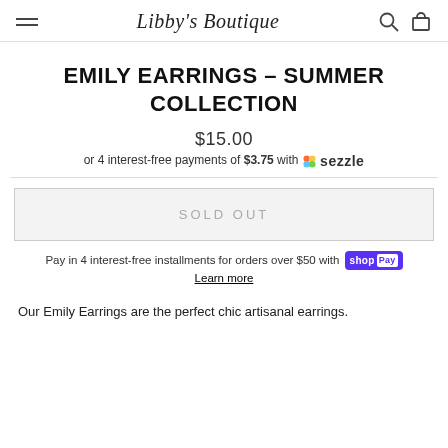Libby's Boutique
EMILY EARRINGS – SUMMER COLLECTION
$15.00
or 4 interest-free payments of $3.75 with Sezzle
SOLD OUT
Pay in 4 interest-free installments for orders over $50 with Shop Pay
Learn more
Our Emily Earrings are the perfect chic artisanal earrings.